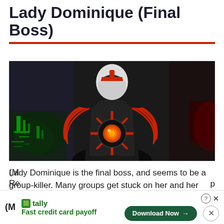Lady Dominique (Final Boss)
[Figure (photo): Screenshot of Lady Dominique, the final boss character, wearing dark armor with red accents and a white helmet with red cross markings. She holds a glowing orange orb/weapon. Background is dark with green lighting on the left.]
Lady Dominique is the final boss, and seems to be a group-killer. Many groups get stuck on her and her many mechanics.
(M
Re